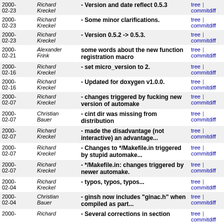| Date | Author | Message | Links |
| --- | --- | --- | --- |
| 2000-02-23 | Richard Kreckel | - Version and date reflect 0.5.3 | tree | commitdiff |
| 2000-02-23 | Richard Kreckel | - Some minor clarifications. | tree | commitdiff |
| 2000-02-23 | Richard Kreckel | - Version 0.5.2 -> 0.5.3. | tree | commitdiff |
| 2000-02-21 | Alexander Frink | some words about the new function registration macro | tree | commitdiff |
| 2000-02-16 | Richard Kreckel | - set micro_version to 2. | tree | commitdiff |
| 2000-02-16 | Richard Kreckel | - Updated for doxygen v1.0.0. | tree | commitdiff |
| 2000-02-07 | Richard Kreckel | - changes triggered by fucking new version of automake | tree | commitdiff |
| 2000-02-07 | Christian Bauer | - cint dir was missing from distribution | tree | commitdiff |
| 2000-02-07 | Richard Kreckel | - made the disadvantage (not interactive) an advantage... | tree | commitdiff |
| 2000-02-07 | Richard Kreckel | - Changes to */Makefile.in triggered by stupid automake... | tree | commitdiff |
| 2000-02-07 | Richard Kreckel | - */Makefile.in: changes triggered by newer automake. | tree | commitdiff |
| 2000-02-04 | Richard Kreckel | - typos, typos, typos... | tree | commitdiff |
| 2000-02-04 | Christian Bauer | - ginsh now includes "ginac.h" when compiled as part... | tree | commitdiff |
| 2000- | Richard | - Several corrections in section | tree | commitdiff |